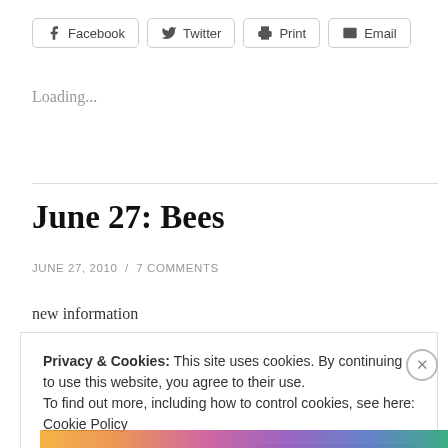[Figure (screenshot): Social share buttons: Facebook, Twitter, Print, Email]
Loading...
June 27: Bees
JUNE 27, 2010 / 7 COMMENTS
new information
Privacy & Cookies: This site uses cookies. By continuing to use this website, you agree to their use.
To find out more, including how to control cookies, see here: Cookie Policy
Close and accept